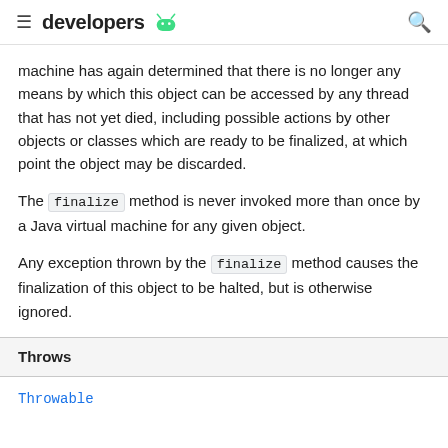developers
machine has again determined that there is no longer any means by which this object can be accessed by any thread that has not yet died, including possible actions by other objects or classes which are ready to be finalized, at which point the object may be discarded.
The finalize method is never invoked more than once by a Java virtual machine for any given object.
Any exception thrown by the finalize method causes the finalization of this object to be halted, but is otherwise ignored.
| Throws |
| --- |
| Throwable |